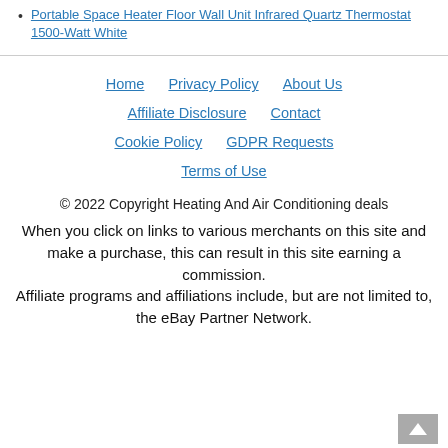Portable Space Heater Floor Wall Unit Infrared Quartz Thermostat 1500-Watt White
Home  Privacy Policy  About Us  Affiliate Disclosure  Contact  Cookie Policy  GDPR Requests  Terms of Use
© 2022 Copyright Heating And Air Conditioning deals
When you click on links to various merchants on this site and make a purchase, this can result in this site earning a commission. Affiliate programs and affiliations include, but are not limited to, the eBay Partner Network.